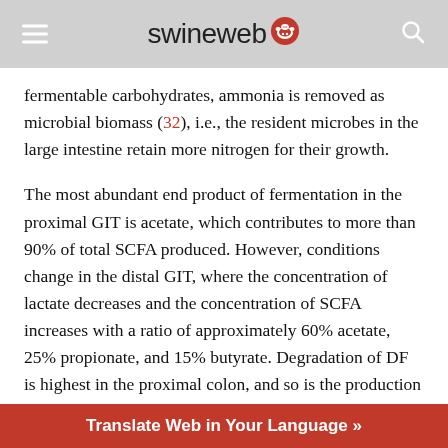swineweb
fermentable carbohydrates, ammonia is removed as microbial biomass (32), i.e., the resident microbes in the large intestine retain more nitrogen for their growth.
The most abundant end product of fermentation in the proximal GIT is acetate, which contributes to more than 90% of total SCFA produced. However, conditions change in the distal GIT, where the concentration of lactate decreases and the concentration of SCFA increases with a ratio of approximately 60% acetate, 25% propionate, and 15% butyrate. Degradation of DF is highest in the proximal colon, and so is the production of lactic acid and SCFA. However, the progressive decrease in the flow of digesta toward the distal colon changes the fermentation metabolite and bacterial profile (1) that differentiates the source of DF due to cross linking
Translate Web in Your Language »